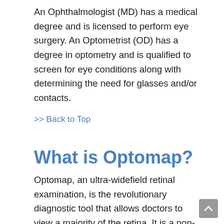An Ophthalmologist (MD) has a medical degree and is licensed to perform eye surgery. An Optometrist (OD) has a degree in optometry and is qualified to screen for eye conditions along with determining the need for glasses and/or contacts.
>> Back to Top
What is Optomap?
Optomap, an ultra-widefield retinal examination, is the revolutionary diagnostic tool that allows doctors to view a majority of the retina. It is a non-dilating camera that captures a digital